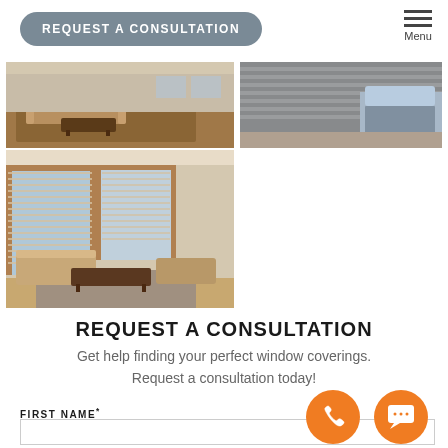REQUEST A CONSULTATION
[Figure (photo): Interior room with wood furniture and area rug]
[Figure (photo): Window covering / blinds close-up with blue bedding]
[Figure (photo): Living room with large windows, wooden blinds/shades, sofa and chairs]
REQUEST A CONSULTATION
Get help finding your perfect window coverings.
Request a consultation today!
FIRST NAME*